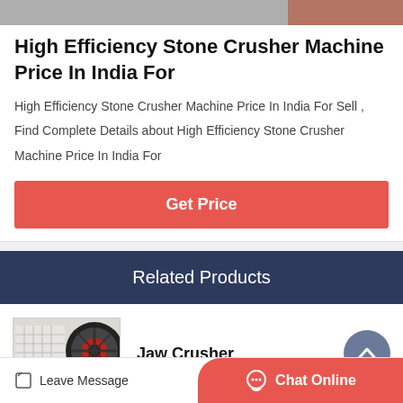[Figure (photo): Top portion of a stone crusher machine image, partially visible at the top of the card]
High Efficiency Stone Crusher Machine Price In India For
High Efficiency Stone Crusher Machine Price In India For Sell , Find Complete Details about High Efficiency Stone Crusher Machine Price In India For
Get Price
Related Products
[Figure (photo): Photo of a Jaw Crusher machine — white industrial crusher with large flywheel visible]
Jaw Crusher
Leave Message
Chat Online